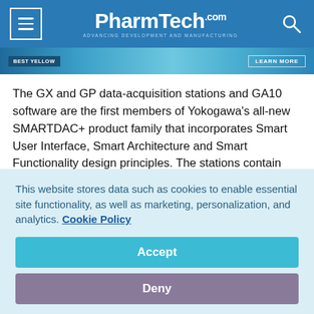PharmTech.com — ADVANCING DEVELOPMENT AND MANUFACTURING
[Figure (photo): Advertisement banner with blue pharmaceutical/lab imagery, badge text and LEARN MORE button]
The GX and GP data-acquisition stations and GA10 software are the first members of Yokogawa's all-new SMARTDAC+ product family that incorporates Smart User Interface, Smart Architecture and Smart Functionality design principles. The stations contain applications that are designed to measure more input signals, save data for longer time periods and access that data more readily via touch display screens and a
This website stores data such as cookies to enable essential site functionality, as well as marketing, personalization, and analytics. Cookie Policy
Accept
Deny